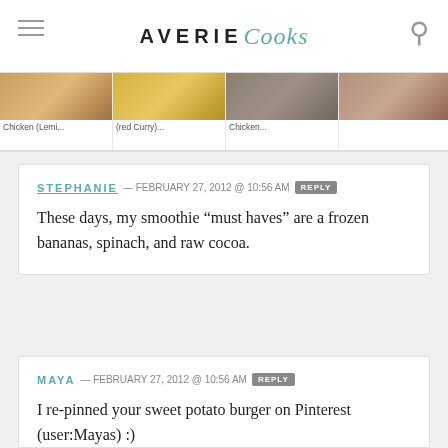AVERIE Cooks
[Figure (screenshot): Navigation strip with food images and partially visible labels: Chicken (Lemi..., (red Curry)..., Chicken...]
STEPHANIE — FEBRUARY 27, 2012 @ 10:56 AM  REPLY
These days, my smoothie “must haves” are a frozen bananas, spinach, and raw cocoa.
MAYA — FEBRUARY 27, 2012 @ 10:56 AM  REPLY
I re-pinned your sweet potato burger on Pinterest (user:Mayas) :)